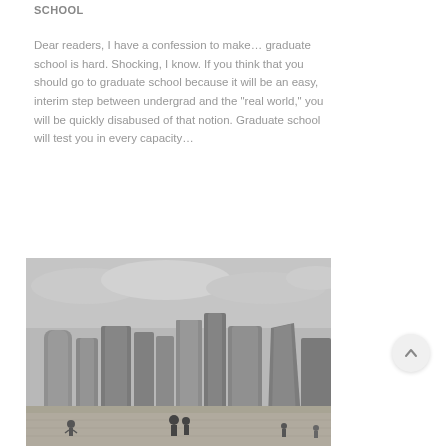SCHOOL
Dear readers, I have a confession to make… graduate school is hard. Shocking, I know. If you think that you should go to graduate school because it will be an easy, interim step between undergrad and the “real world,” you will be quickly disabused of that notion. Graduate school will test you in every capacity…
[Figure (photo): Black and white wide-angle photo of Chicago skyline with tall skyscrapers viewed from Millennium Park plaza, with people walking in the foreground and overcast sky above. The curved reflective surface of the Cloud Gate sculpture frames the top of the image.]